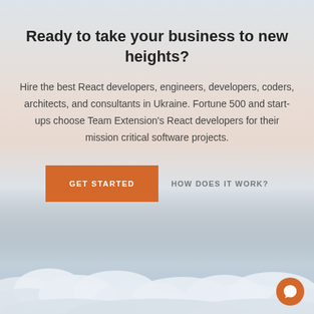Ready to take your business to new heights?
Hire the best React developers, engineers, developers, coders, architects, and consultants in Ukraine. Fortune 500 and start-ups choose Team Extension's React developers for their mission critical software projects.
[Figure (other): Orange 'GET STARTED' button and 'HOW DOES IT WORK?' text link side by side]
[Figure (photo): Background photo of clouds viewed from above with warm sky gradient]